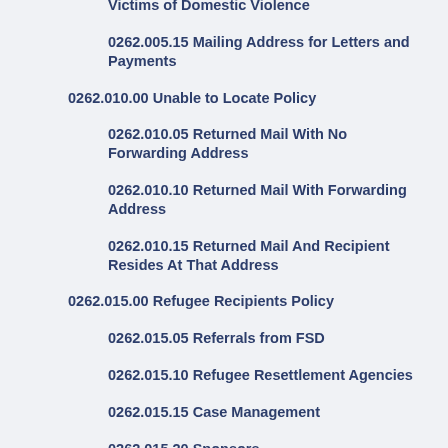Victims of Domestic Violence
0262.005.15 Mailing Address for Letters and Payments
0262.010.00 Unable to Locate Policy
0262.010.05 Returned Mail With No Forwarding Address
0262.010.10 Returned Mail With Forwarding Address
0262.010.15 Returned Mail And Recipient Resides At That Address
0262.015.00 Refugee Recipients Policy
0262.015.05 Referrals from FSD
0262.015.10 Refugee Resettlement Agencies
0262.015.15 Case Management
0262.015.20 Sponsors